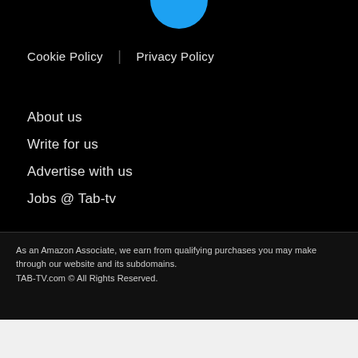[Figure (logo): Partial blue circular logo at top center, cropped at the top edge]
Cookie Policy    Privacy Policy
About us
Write for us
Advertise with us
Jobs @ Tab-tv
As an Amazon Associate, we earn from qualifying purchases you may make through our website and its subdomains.
TAB-TV.com © All Rights Reserved.